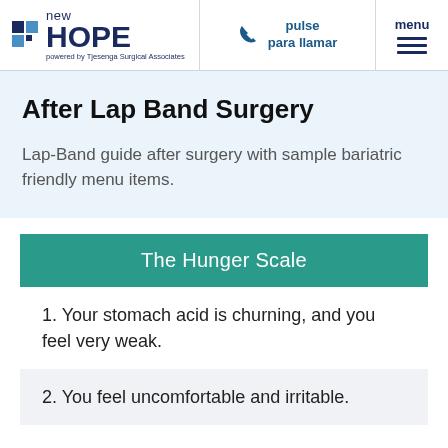new HOPE powered by Tjesenga Surgical Associates | pulse para llamar | menu
After Lap Band Surgery
Lap-Band guide after surgery with sample bariatric friendly menu items.
The Hunger Scale
1. Your stomach acid is churning, and you feel very weak.
2. You feel uncomfortable and irritable.